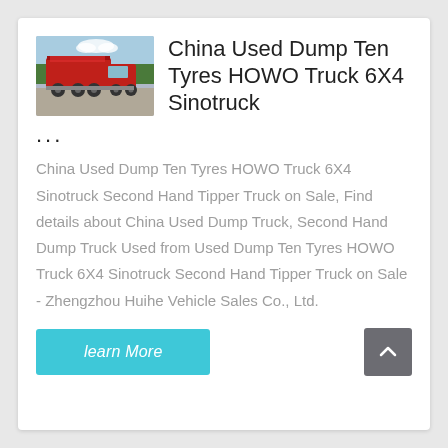[Figure (photo): Red HOWO dump truck parked outdoors with trees in the background]
China Used Dump Ten Tyres HOWO Truck 6X4 Sinotruck
...
China Used Dump Ten Tyres HOWO Truck 6X4 Sinotruck Second Hand Tipper Truck on Sale, Find details about China Used Dump Truck, Second Hand Dump Truck Used from Used Dump Ten Tyres HOWO Truck 6X4 Sinotruck Second Hand Tipper Truck on Sale - Zhengzhou Huihe Vehicle Sales Co., Ltd.
learn More